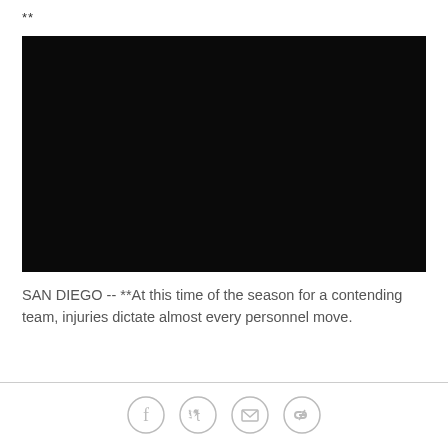**
[Figure (photo): Black/dark image placeholder, fully black rectangle]
SAN DIEGO -- **At this time of the season for a contending team, injuries dictate almost every personnel move.
[Figure (other): Social sharing icons: Facebook, Twitter, Email, Link]